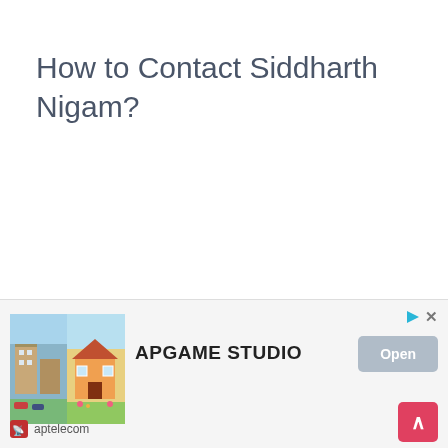How to Contact Siddharth Nigam?
[Figure (infographic): Advertisement banner for APGAME STUDIO showing building/house game graphics on the left, studio name in center, and an Open button on the right. Footer shows aptelecom logo and a scroll-up button.]